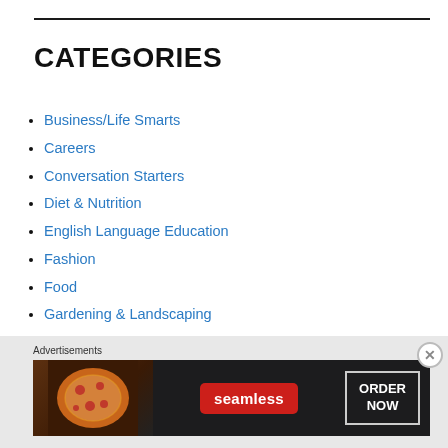CATEGORIES
Business/Life Smarts
Careers
Conversation Starters
Diet & Nutrition
English Language Education
Fashion
Food
Gardening & Landscaping
Health
[Figure (other): Seamless food delivery advertisement banner with pizza image and ORDER NOW button]